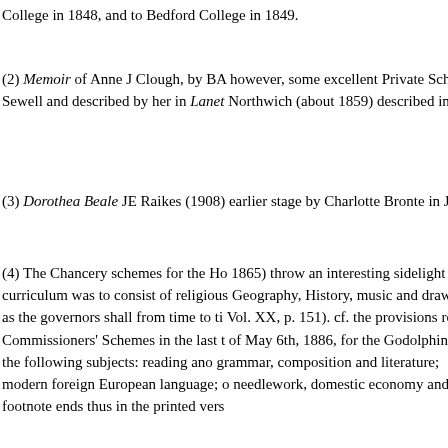College in 1848, and to Bedford College in 1849.
(2) Memoir of Anne J Clough, by BA however, some excellent Private Schools Sewell and described by her in Lanet Northwich (about 1859) described in
(3) Dorothea Beale JE Raikes (1908) earlier stage by Charlotte Bronte in Ja
(4) The Chancery schemes for the Ho 1865) throw an interesting sidelight o curriculum was to consist of religiou Geography, History, music and drawi as the governors shall from time to ti Vol. XX, p. 151). cf. the provisions re Commissioners' Schemes in the last t of May 6th, 1886, for the Godolphin in the following subjects: reading ano grammar, composition and literature; modern foreign European language; o needlework, domestic economy and t footnote ends thus in the printed vers
[page 24]
The management from the li